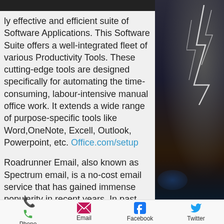ly effective and efficient suite of Software Applications. This Software Suite offers a well-integrated fleet of various Productivity Tools. These cutting-edge tools are designed specifically for automating the time-consuming, labour-intensive manual office work. It extends a wide range of purpose-specific tools like Word,OneNote, Excell, Outlook, Powerpoint, etc. Office.com/setup
Roadrunner Email, also known as Spectrum email, is a no-cost email service that has gained immense popularity in recent years. In past years, Time Warner Cable, an internet service provider, has offered this service to millions of users around the globe. But later, Spectrum of Charter...
[Figure (photo): A dark stormy background with lightning bolts striking on the right side panel of the page]
Phone  Email  Facebook  Twitter